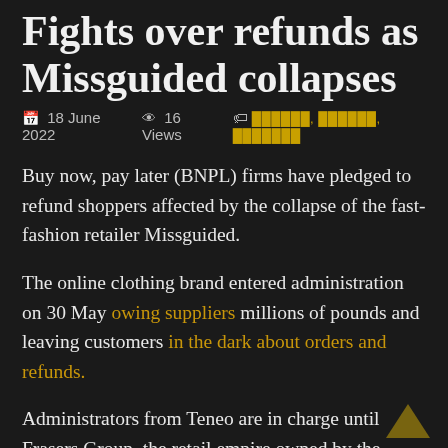Fights over refunds as Missguided collapses
18 June 2022   16 Views   ██████, ██████, ███████
Buy now, pay later (BNPL) firms have pledged to refund shoppers affected by the collapse of the fast-fashion retailer Missguided.
The online clothing brand entered administration on 30 May owing suppliers millions of pounds and leaving customers in the dark about orders and refunds.
Administrators from Teneo are in charge until Frasers Group, the retail empire owned by the Sports Direct founder, Mike Ashley, takes over in August after a £20m deal.
The site's low prices – it hit the headlines in 2019